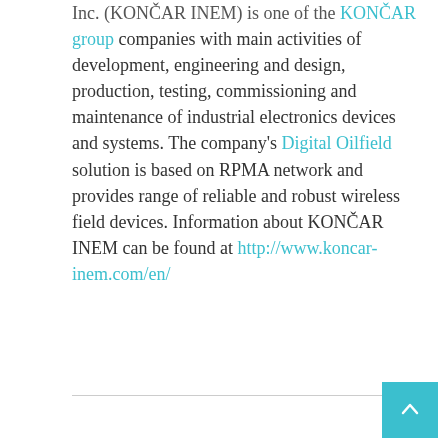Inc. (KONČAR INEM) is one of the KONČAR group companies with main activities of development, engineering and design, production, testing, commissioning and maintenance of industrial electronics devices and systems. The company's Digital Oilfield solution is based on RPMA network and provides range of reliable and robust wireless field devices. Information about KONČAR INEM can be found at http://www.koncar-inem.com/en/